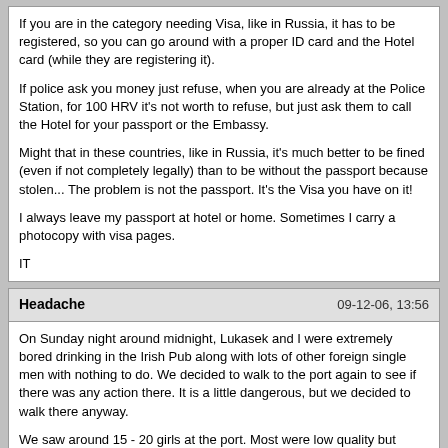If you are in the category needing Visa, like in Russia, it has to be registered, so you can go around with a proper ID card and the Hotel card (while they are registering it).

If police ask you money just refuse, when you are already at the Police Station, for 100 HRV it's not worth to refuse, but just ask them to call the Hotel for your passport or the Embassy.

Might that in these countries, like in Russia, it's much better to be fined (even if not completely legally) than to be without the passport because stolen... The problem is not the passport. It's the Visa you have on it!

I always leave my passport at hotel or home. Sometimes I carry a photocopy with visa pages.

IT
Headache | 09-12-06, 13:56

On Sunday night around midnight, Lukasek and I were extremely bored drinking in the Irish Pub along with lots of other foreign single men with nothing to do. We decided to walk to the port again to see if there was any action there. It is a little dangerous, but we decided to walk there anyway.

We saw around 15 - 20 girls at the port. Most were low quality but there were one or two good ones. We asked and the answer given by their spokespersons was $50.

We walked around and found 2 nice 20 year old girls sitting by themselves away from the crowd. They didn't speak English and we didn't speak much Russian. They wanted $100 each. We offered $50 each but they were not interested. Too bad it was my last night in Odessa.

What I noticed was that some of the port street girls were walking to the church and then to the Deribasovskaya Street. All this time the street girls could have been parading in front of us and we didn't know it.